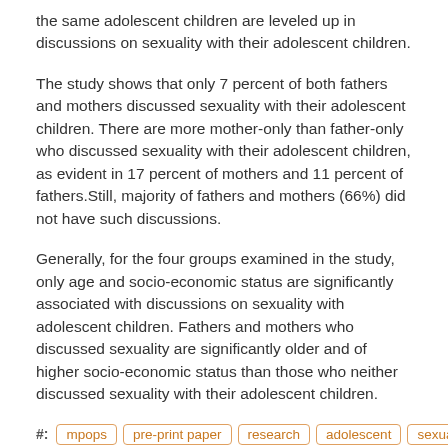the same adolescent children are leveled up in discussions on sexuality with their adolescent children.
The study shows that only 7 percent of both fathers and mothers discussed sexuality with their adolescent children. There are more mother-only than father-only who discussed sexuality with their adolescent children, as evident in 17 percent of mothers and 11 percent of fathers.Still, majority of fathers and mothers (66%) did not have such discussions.
Generally, for the four groups examined in the study, only age and socio-economic status are significantly associated with discussions on sexuality with adolescent children. Fathers and mothers who discussed sexuality are significantly older and of higher socio-economic status than those who neither discussed sexuality with their adolescent children.
#: mpops pre-print paper research adolescent sexuality